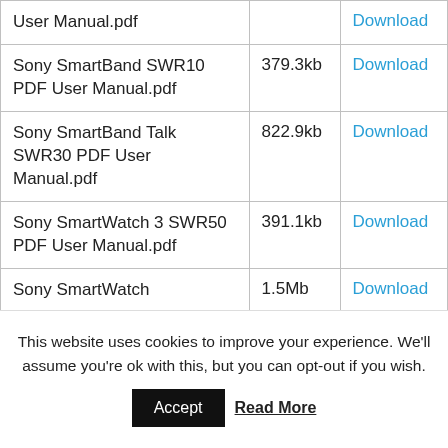| Filename | Size | Action |
| --- | --- | --- |
| User Manual.pdf |  | Download |
| Sony SmartBand SWR10 PDF User Manual.pdf | 379.3kb | Download |
| Sony SmartBand Talk SWR30 PDF User Manual.pdf | 822.9kb | Download |
| Sony SmartWatch 3 SWR50 PDF User Manual.pdf | 391.1kb | Download |
| Sony SmartWatch | 1.5Mb | Download |
This website uses cookies to improve your experience. We'll assume you're ok with this, but you can opt-out if you wish.
Accept | Read More